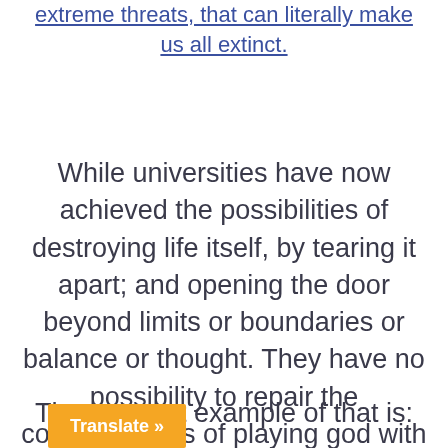extreme threats, that can literally make us all extinct.
While universities have now achieved the possibilities of destroying life itself, by tearing it apart; and opening the door beyond limits or boundaries or balance or thought. They have no possibility to repair the consequences of playing god with life or earth.
The greatest example of that is:
[Figure (other): Orange 'Translate »' button widget in the bottom left area]